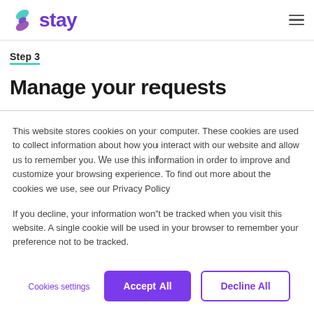stay [logo] [hamburger menu]
Step 3
Manage your requests
This website stores cookies on your computer. These cookies are used to collect information about how you interact with our website and allow us to remember you. We use this information in order to improve and customize your browsing experience. To find out more about the cookies we use, see our Privacy Policy
If you decline, your information won't be tracked when you visit this website. A single cookie will be used in your browser to remember your preference not to be tracked.
Cookies settings
Accept All
Decline All